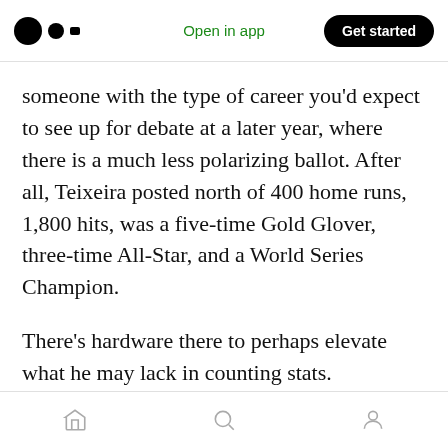Open in app | Get started
someone with the type of career you’d expect to see up for debate at a later year, where there is a much less polarizing ballot. After all, Teixeira posted north of 400 home runs, 1,800 hits, was a five-time Gold Glover, three-time All-Star, and a World Series Champion.
There’s hardware there to perhaps elevate what he may lack in counting stats.
Perhaps the best Hall of Famer to compare him to would be Eddie Murray: both switch-hitters, both power bats, both first basemen.
Home | Search | Profile